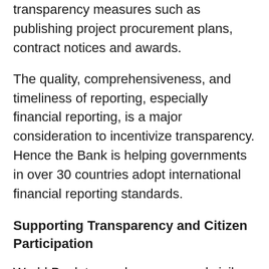transparency measures such as publishing project procurement plans, contract notices and awards.
The quality, comprehensiveness, and timeliness of reporting, especially financial reporting, is a major consideration to incentivize transparency. Hence the Bank is helping governments in over 30 countries adopt international financial reporting standards.
Supporting Transparency and Citizen Participation
World Bank teams have engaged civil society organizations to help monitor COVID-19 response projects through Governance and Accountability Action Plans that build onetter field...